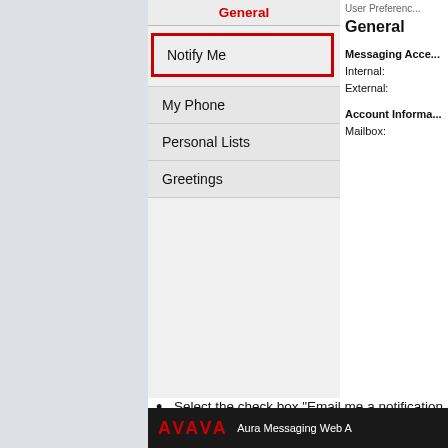[Figure (screenshot): User Preferences navigation menu showing General tab selected, with Notify Me highlighted in red border, My Phone, Personal Lists, and Greetings menu items below. Right side shows User Preferences General panel with Messaging Access and Account Information sections.]
Select the check box "Email me a notification for each voice message" under Voice Email Notifications.
Enter your email address in "To email addresses:" (If you need to forward to multiple emails, use ; between email addresses)
Select check box "Include the recording"
Be sure to select "Save" at the bottom of the page.
[Figure (screenshot): AVAYA Aura Messaging Web Application bottom bar]